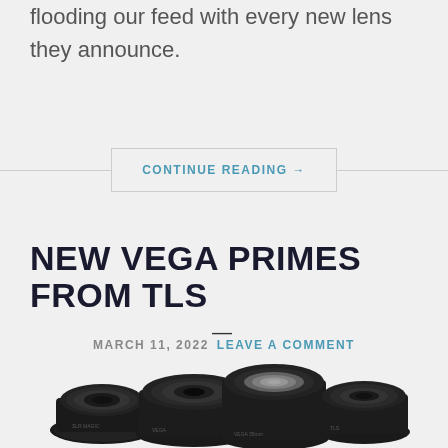flooding our feed with every new lens they announce.
CONTINUE READING →
NEW VEGA PRIMES FROM TLS
MARCH 11, 2022  LEAVE A COMMENT
[Figure (photo): Group of black camera prime lenses arranged together, photographed from above at a slight angle.]